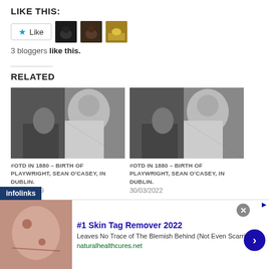LIKE THIS:
[Figure (screenshot): Like button with star icon and three blogger avatar thumbnails]
3 bloggers like this.
RELATED
[Figure (photo): Black and white photo of elderly person in white sweater, related post image 1]
#OTD IN 1880 – BIRTH OF PLAYWRIGHT, SEAN O'CASEY, IN DUBLIN.
30/03/2019
[Figure (photo): Black and white photo of elderly person in white sweater, related post image 2]
#OTD IN 1880 – BIRTH OF PLAYWRIGHT, SEAN O'CASEY, IN DUBLIN.
30/03/2022
[Figure (screenshot): Advertisement: #1 Skin Tag Remover 2022 - Leaves No Trace of The Blemish Behind (Not Even Scarring) - naturalhealthcures.net]